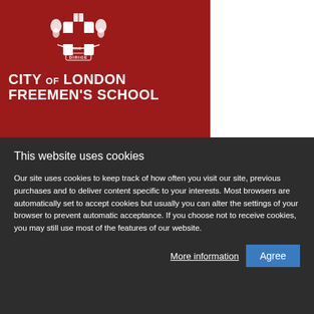[Figure (logo): City of London Freemen's School coat of arms crest on red background with text CITY OF LONDON FREEMEN'S SCHOOL]
This website uses cookies
Our site uses cookies to keep track of how often you visit our site, previous purchases and to deliver content specific to your interests. Most browsers are automatically set to accept cookies but usually you can alter the settings of your browser to prevent automatic acceptance. If you choose not to receive cookies, you may still use most of the features of our website.
More information | Agree